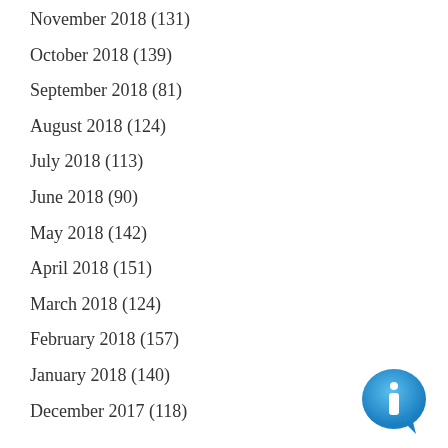November 2018 (131)
October 2018 (139)
September 2018 (81)
August 2018 (124)
July 2018 (113)
June 2018 (90)
May 2018 (142)
April 2018 (151)
March 2018 (124)
February 2018 (157)
January 2018 (140)
December 2017 (118)
[Figure (illustration): Blue speech bubble with italic letter i (information icon) in lower right corner]